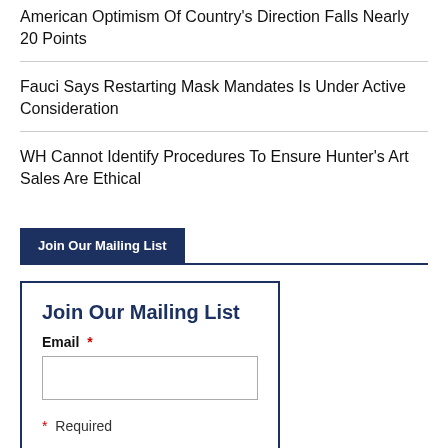American Optimism Of Country's Direction Falls Nearly 20 Points
Fauci Says Restarting Mask Mandates Is Under Active Consideration
WH Cannot Identify Procedures To Ensure Hunter's Art Sales Are Ethical
Join Our Mailing List
Join Our Mailing List
Email * (required field)
* Required